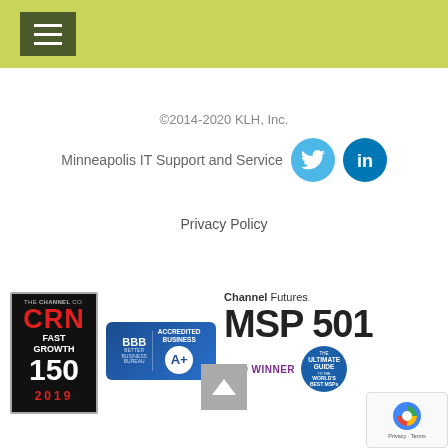Navigation menu header bar with hamburger menu icon
©2014-2020 KLH, Inc.
Minneapolis IT Support and Service
Privacy Policy
[Figure (logo): CRN Fast Growth 150 2019 award badge, THE CHANNEL CO. CRN FAST GROWTH 150 2019]
[Figure (logo): BBB Accredited Business A+ badge]
[Figure (logo): Channel Futures MSP 501 2019 Winner badge with Ultimate Guide to World's Best MSPs circle]